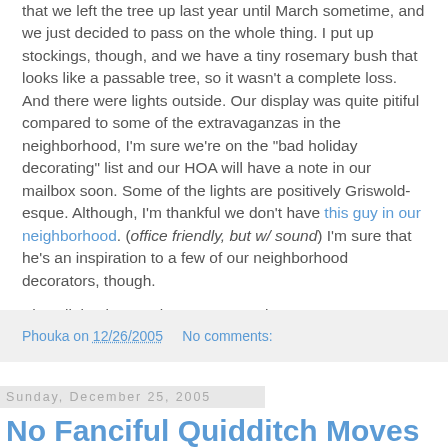that we left the tree up last year until March sometime, and we just decided to pass on the whole thing. I put up stockings, though, and we have a tiny rosemary bush that looks like a passable tree, so it wasn't a complete loss. And there were lights outside. Our display was quite pitiful compared to some of the extravaganzas in the neighborhood, I'm sure we're on the "bad holiday decorating" list and our HOA will have a note in our mailbox soon. Some of the lights are positively Griswold-esque. Although, I'm thankful we don't have this guy in our neighborhood. (office friendly, but w/ sound) I'm sure that he's an inspiration to a few of our neighborhood decorators, though.

Ah well, back to work tomorrow. Only seventeen more days. Seventeen. Woo-hoo!
Phouka on 12/26/2005   No comments:
Sunday, December 25, 2005
No Fanciful Quidditch Moves